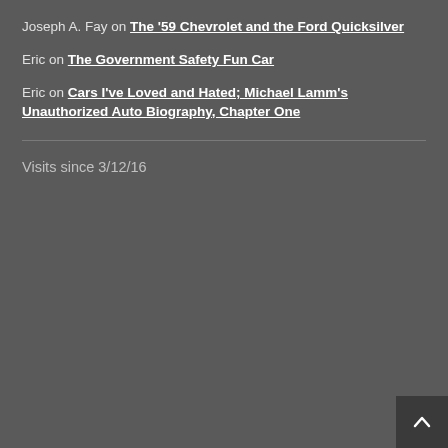Joseph A. Fay on The '59 Chevrolet and the Ford Quicksilver
Eric on The Government Safety Fun Car
Eric on Cars I've Loved and Hated; Michael Lamm's Unauthorized Auto Biography, Chapter One
Visits since 3/12/16